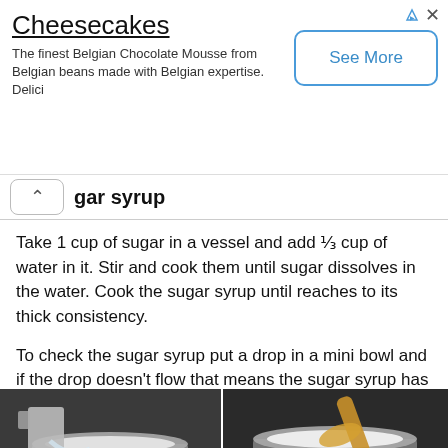Cheesecakes
The finest Belgian Chocolate Mousse from Belgian beans made with Belgian expertise. Delici
gar syrup
Take 1 cup of sugar in a vessel and add ⅓ cup of water in it. Stir and cook them until sugar dissolves in the water. Cook the sugar syrup until reaches to its thick consistency.
To check the sugar syrup put a drop in a mini bowl and if the drop doesn't flow that means the sugar syrup has set the, switch off the flame.
[Figure (photo): Four photos showing sugar syrup preparation: top-left shows water being poured from a measuring cup into a pot, top-right shows a wooden spoon stirring sugar in a silver pot on a stove, bottom-left shows sugar being poured into a bowl from a pot with a wooden spoon, bottom-right shows hands holding a bowl of white cooked rice or sugar mixture.]